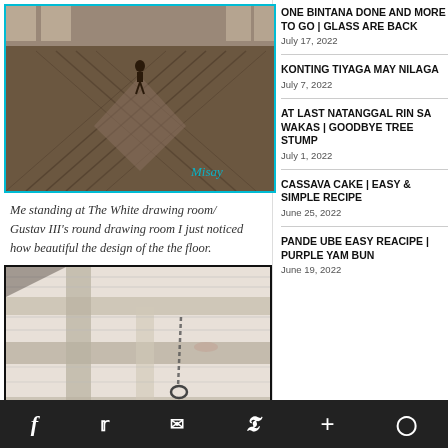[Figure (photo): Interior photo of a large hall with herringbone/chevron patterned wooden floor. A person is standing in the background near windows. The watermark 'Misay' appears in teal at the bottom right.]
Me standing at The White drawing room/ Gustav III's round drawing room I just noticed how beautiful the design of the the floor.
[Figure (photo): Interior photo of a white wooden ceiling with exposed beams and a hanging chain/ring.]
ONE BINTANA DONE AND MORE TO GO | GLASS ARE BACK
July 17, 2022
KONTING TIYAGA MAY NILAGA
July 7, 2022
AT LAST NATANGGAL RIN SA WAKAS | GOODBYE TREE STUMP
July 1, 2022
CASSAVA CAKE | EASY & SIMPLE RECIPE
June 25, 2022
PANDE UBE EASY REACIPE | PURPLE YAM BUN
June 19, 2022
f  Twitter  Mail  Pinterest  +  WordPress